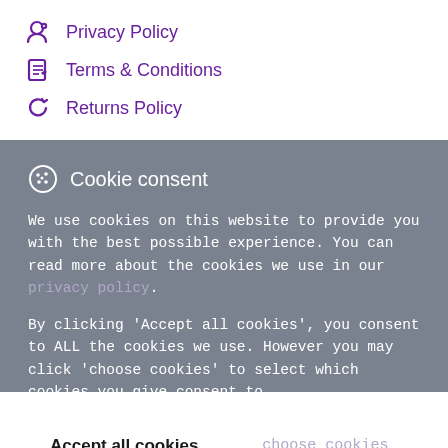Privacy Policy
Terms & Conditions
Returns Policy
Cookie consent
We use cookies on this website to provide you with the best possible experience. You can read more about the cookies we use in our privacy policy.
By clicking 'Accept all cookies', you consent to ALL the cookies we use. However you may click 'choose cookies' to select which cookies you give consent to.
Accept all cookies  or  choose cookies